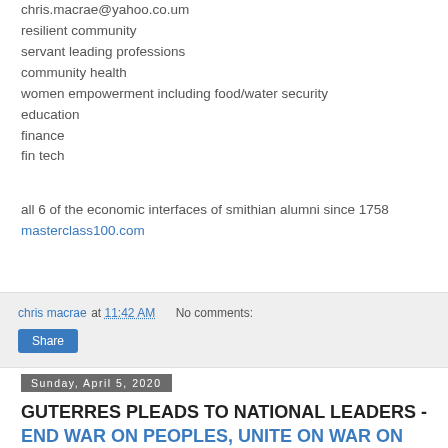chris.macrae@yahoo.co.um
resilient community
servant leading professions
community health
women empowerment including food/water security
education
finance
fin tech
all 6 of the economic interfaces of smithian alumni since 1758
masterclass100.com
chris macrae at 11:42 AM  No comments:
Share
Sunday, April 5, 2020
GUTERRES PLEADS TO NATIONAL LEADERS -END WAR ON PEOPLES, UNITE ON WAR ON VIRUS